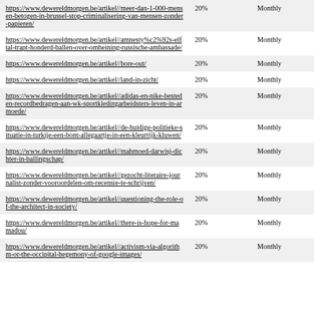| URL | 20% | Monthly |
| --- | --- | --- |
| https://www.dewereldmorgen.be/artikel//meer-dan-1-000-mensen-betogen-in-brussel-stop-criminalisering-van-mensen-zonder-papieren/ | 20% | Monthly |
| https://www.dewereldmorgen.be/artikel//amnesty%c2%92s-elftal-trapt-honderd-ballen-over-omheining-russische-ambassade/ | 20% | Monthly |
| https://www.dewereldmorgen.be/artikel//bore-out/ | 20% | Monthly |
| https://www.dewereldmorgen.be/artikel//land-in-zicht/ | 20% | Monthly |
| https://www.dewereldmorgen.be/artikel//adidas-en-nike-besteden-recordbedragen-aan-wk-sportkledingarbeidsters-leven-in-armoede/ | 20% | Monthly |
| https://www.dewereldmorgen.be/artikel//de-huidige-politieke-situatie-in-turkije-een-bont-allegaartje-in-een-kleurrijk-kluwen/ | 20% | Monthly |
| https://www.dewereldmorgen.be/artikel//mahmoed-darwisj-dichter-in-ballingschap/ | 20% | Monthly |
| https://www.dewereldmorgen.be/artikel//gezocht-literaire-journalist-zonder-vooroordelen-om-recensie-te-schrijven/ | 20% | Monthly |
| https://www.dewereldmorgen.be/artikel//questioning-the-role-of-the-architect-in-society/ | 20% | Monthly |
| https://www.dewereldmorgen.be/artikel//there-is-hope-for-mamadou/ | 20% | Monthly |
| https://www.dewereldmorgen.be/artikel//activism-via-algorithm-or-the-occipital-hegemony-of-google-images/ | 20% | Monthly |